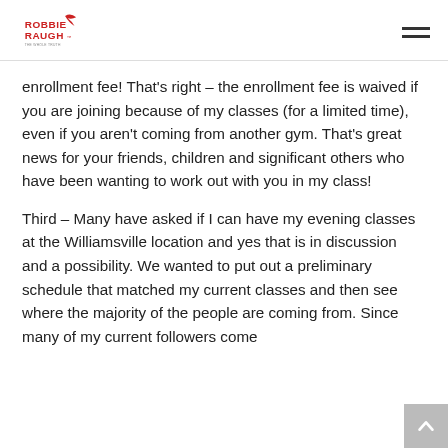Robbie Raugh logo and navigation menu
enrollment fee!  That's right – the enrollment fee is waived if you are joining because of my classes (for a limited time), even if you aren't coming from another gym.  That's great news for your friends, children and significant others who have been wanting to work out with you in my class!
Third – Many have asked if I can have my evening classes at the Williamsville location and yes that is in discussion and a possibility.  We wanted to put out a preliminary schedule that matched my current classes and then see where the majority of the people are coming from.  Since many of my current followers come